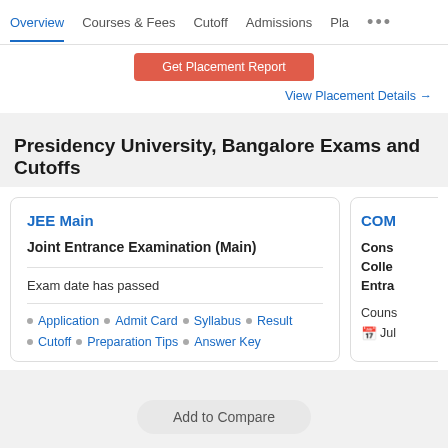Overview | Courses & Fees | Cutoff | Admissions | Pla...
Get Placement Report
View Placement Details →
Presidency University, Bangalore Exams and Cutoffs
JEE Main
Joint Entrance Examination (Main)
Exam date has passed
Application • Admit Card • Syllabus • Result
Cutoff • Preparation Tips • Answer Key
COM
Consortium College Entrance
Counselling
Jul
Add to Compare